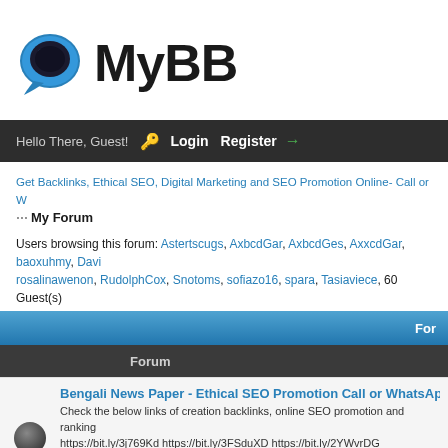[Figure (logo): MyBB forum software logo with blue speech bubble icon and bold black MyBB text]
Hello There, Guest! Login Register
Get Backlinks, Ethical SEO, Digital Marketing and SEO Promotion Online- Call or W
My Forum
Users browsing this forum: Astertscugs, AxbcdGar, AxbcdGes, AxxcdGar, baoxuhmy, Davi, rosalinawenon, RudolphCox, Snotoms, sofiazo16, spara, Tasiaviece, 60 Guest(s)
| Forum |  |
| --- | --- |
| Bengali News Paper - Ethical SEO Promotion Call or WhatsApp... | Check the below links of creation backlinks, online SEO promotion and ranking... https://bit.ly/3j769Kd https://bit.ly/3FSduXD https://bit.ly/2YWvrDG https://bit.ly/2... https://bit.ly/3ATpqFa https://bit.ly/3IKCmZq https://www.kolkatavipgirls.in/ https:... https://cyriltechnologies.com/ https://cyriltechnologies.com/forum https://internet... https://www.krantishema.com/ https://locannto.com/ https://bit.ly/3nwCJXc https:... https://bit.ly/3ChDn14 https://bit.ly/2ZmQK18 https://bit.ly/3pEs5k4 https://bit.ly/3... https://www.mahimegh.com/ https://bit.ly/3wPOsoh https://bit.ly/3wzXx48 https:... |